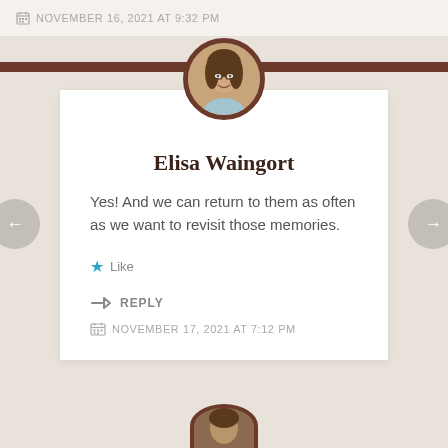NOVEMBER 16, 2021 AT 9:32 PM
[Figure (photo): Circular profile photo of Elisa Waingort, a woman with glasses and curly brown hair, framed with a dark brown circular border, positioned at top center of comment card]
Elisa Waingort
Yes! And we can return to them as often as we want to revisit those memories.
Like
REPLY
NOVEMBER 17, 2021 AT 7:12 PM
[Figure (photo): Partial circular profile photo visible at the bottom of the page, showing top of another commenter's avatar]